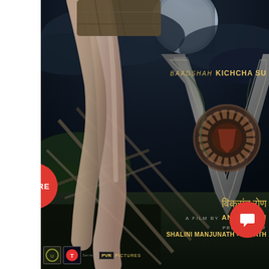[Figure (photo): Movie poster for 'Vikrant Rona' (Kannada film). Shows a dramatic dark fantasy scene with a figure in plaid shorts holding weapons, large metallic V logo on the right, moonlit background with stormy sky. Text overlays include 'BAADSHAH KICHCHA SU...' at top right, 'विक्रांत रोण...' in Devanagari script, 'A FILM BY ANUP BHAN...' and 'PRODUCED BY SHALINI MANJUNATH - JAC...ATH' at bottom. Logos at bottom left include certification and T-Series logos and PVR PICTURES. Red circular SHARE button on the left side. Red circular chat/comment button at bottom right.]